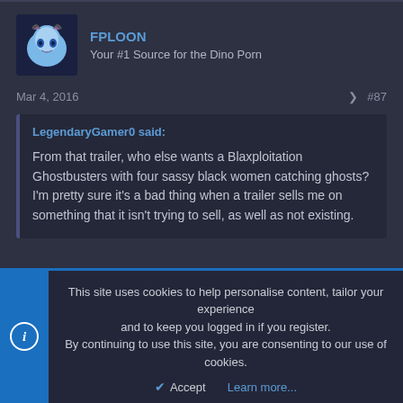FPLOON
Your #1 Source for the Dino Porn
Mar 4, 2016  #87
LegendaryGamer0 said:

From that trailer, who else wants a Blaxploitation Ghostbusters with four sassy black women catching ghosts? I'm pretty sure it's a bad thing when a trailer sells me on something that it isn't trying to sell, as well as not existing.
This site uses cookies to help personalise content, tailor your experience and to keep you logged in if you register.
By continuing to use this site, you are consenting to our use of cookies.

Accept   Learn more...